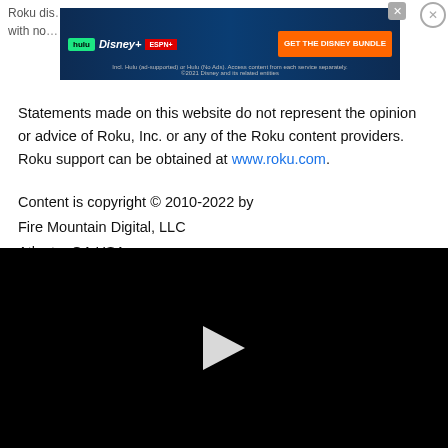[Figure (screenshot): Advertisement banner for The Disney Bundle featuring Hulu, Disney+, and ESPN+ logos with 'GET THE DISNEY BUNDLE' call-to-action button]
Statements made on this website do not represent the opinion or advice of Roku, Inc. or any of the Roku content providers. Roku support can be obtained at www.roku.com.
Content is copyright © 2010-2022 by
Fire Mountain Digital, LLC
Atlanta, GA USA
[Figure (screenshot): Black video player area with a white play button triangle in the center]